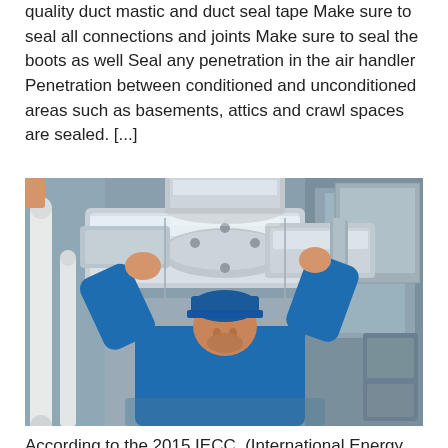quality duct mastic and duct seal tape Make sure to seal all connections and joints Make sure to seal the boots as well Seal any penetration in the air handler Penetration between conditioned and unconditioned areas such as basements, attics and crawl spaces are sealed. [...]
[Figure (photo): A technician wearing a blue shirt and blue cap working on large silver metallic HVAC ducts and ductwork in a mechanical room, arms raised up to handle the duct connections.]
According to the 2015 IECC, (International Energy